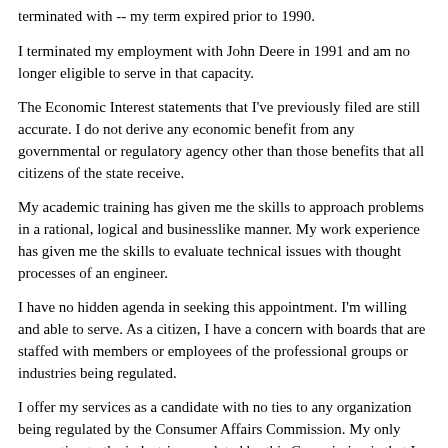terminated with -- my term expired prior to 1990.
I terminated my employment with John Deere in 1991 and am no longer eligible to serve in that capacity.
The Economic Interest statements that I've previously filed are still accurate. I do not derive any economic benefit from any governmental or regulatory agency other than those benefits that all citizens of the state receive.
My academic training has given me the skills to approach problems in a rational, logical and businesslike manner. My work experience has given me the skills to evaluate technical issues with thought processes of an engineer.
I have no hidden agenda in seeking this appointment. I'm willing and able to serve. As a citizen, I have a concern with boards that are staffed with members or employees of the professional groups or industries being regulated.
I offer my services as a candidate with no ties to any organization being regulated by the Consumer Affairs Commission. My only connection to the industries regulated by this Commission is that I along with every other citizen in the State of South Carolina use their services and buy the products of the companies that are regulated. I have no special qualifications to offer other than an